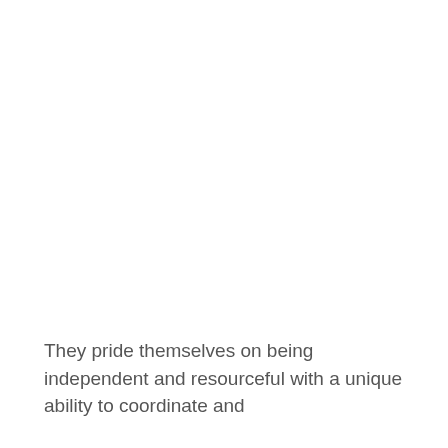They pride themselves on being independent and resourceful with a unique ability to coordinate and